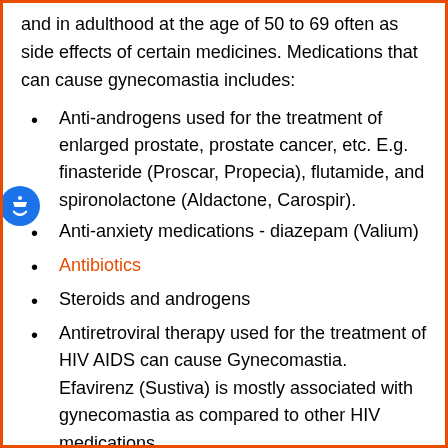and in adulthood at the age of 50 to 69 often as side effects of certain medicines. Medications that can cause gynecomastia includes:
Anti-androgens used for the treatment of enlarged prostate, prostate cancer, etc. E.g. finasteride (Proscar, Propecia), flutamide, and spironolactone (Aldactone, Carospir).
Anti-anxiety medications - diazepam (Valium)
Antibiotics
Steroids and androgens
Antiretroviral therapy used for the treatment of HIV AIDS can cause Gynecomastia. Efavirenz (Sustiva) is mostly associated with gynecomastia as compared to other HIV medications.
Tricyclic antidepressants